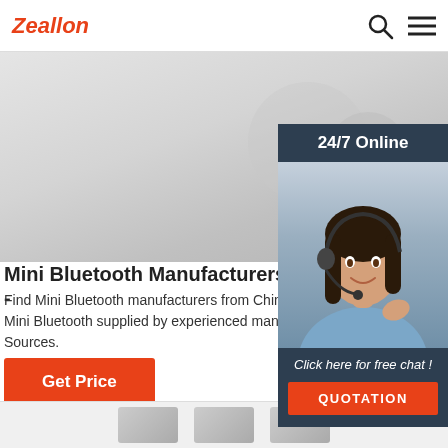Zeallon
[Figure (screenshot): Hero banner area with gray gradient background]
[Figure (photo): 24/7 Online chat widget with woman wearing headset, dark navy background, shows 'Click here for free chat!' and QUOTATION button]
Mini Bluetooth Manufacturers & Suppliers -
Find Mini Bluetooth manufacturers from China. Mini Bluetooth supplied by experienced manufacturers & Sources.
Get Price